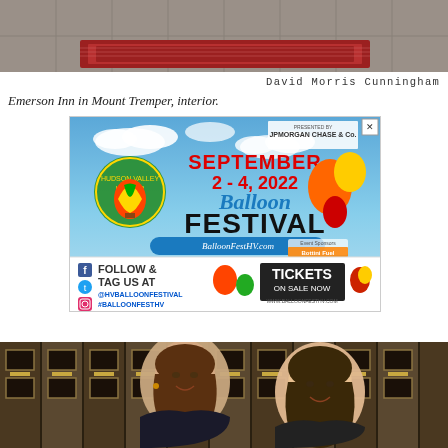[Figure (photo): Interior of Emerson Inn in Mount Tremper, showing tiled floor with a decorative rug]
David Morris Cunningham
Emerson Inn in Mount Tremper, interior.
[Figure (illustration): Advertisement for Hudson Valley Hot-Air Balloon Festival, September 2-4, 2022, presented by JPMorgan Chase & Co. Website: BalloonFestHV.com. Follow & tag us at @HVBalloonFestival #BalloonFestHV. Tickets on sale now at www.balloonfestHV.com. Sponsors include Bottini Fuel.]
[Figure (photo): Two women smiling in front of shelving with framed items, likely at the Emerson Inn]